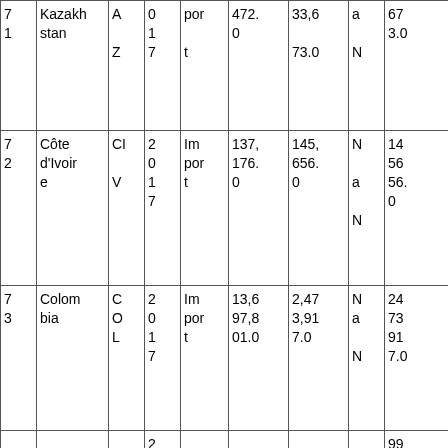| 7
1 | Kazakhstan | A
Z | 0
1
7 | Import | 472.0 | 33,6
73.0 | a
N | 67
3.0 | 4.1
4 |
| 7
2 | Côte d'Ivoire | CI
V | 2
0
1
7 | Import | 137,176.0 | 145,656.0 | N
a
N | 14
56
56.
0 | 0.9
4 |
| 7
3 | Colombia | C
O
L | 2
0
1
7 | Import | 13,697,801.0 | 2,473,917.0 | N
a
N | 24
73
91
7.0 | 5.5
4 |
|  |  |  | 2 |  |  |  |  | 99 |  |